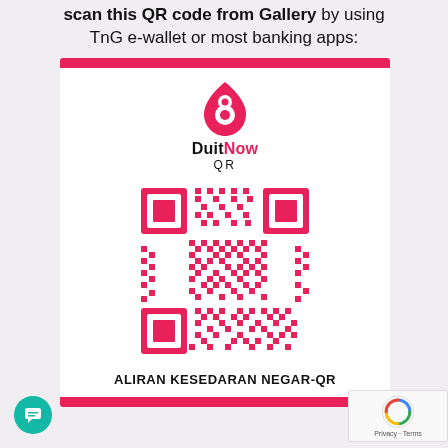scan this QR code from Gallery by using TnG e-wallet or most banking apps:
[Figure (other): DuitNow QR payment code card with pink top bar, DuitNow QR logo, pink QR code, and label ALIRAN KESEDARAN NEGAR-QR at the bottom, followed by a pink bottom bar.]